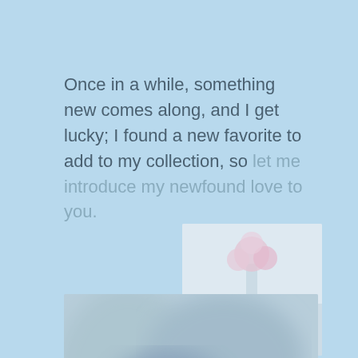Once in a while, something new comes along, and I get lucky; I found a new favorite to add to my collection, so let me introduce my newfound love to you.
[Figure (photo): Small photo of pink flowers in a vase with colorful decorative balls in a light blue tray on a table, soft pastel tones]
[Figure (photo): Large blurred background photo showing a soft-focus scene with blueish and greenish tones, possibly a home decor or still-life setting]